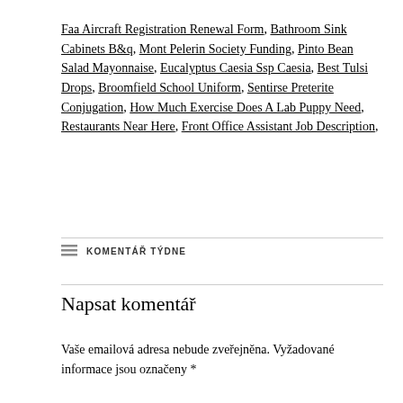Faa Aircraft Registration Renewal Form, Bathroom Sink Cabinets B&q, Mont Pelerin Society Funding, Pinto Bean Salad Mayonnaise, Eucalyptus Caesia Ssp Caesia, Best Tulsi Drops, Broomfield School Uniform, Sentirse Preterite Conjugation, How Much Exercise Does A Lab Puppy Need, Restaurants Near Here, Front Office Assistant Job Description,
KOMENTÁŘ TÝDNE
Napsat komentář
Vaše emailová adresa nebude zveřejněna. Vyžadované informace jsou označeny *